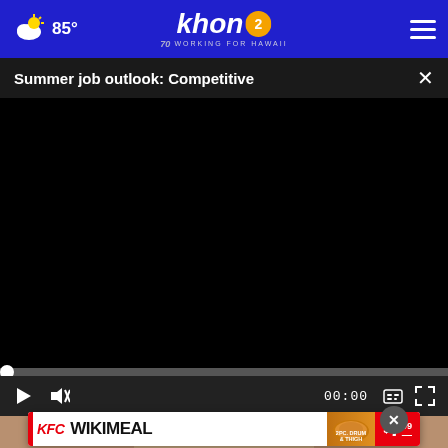85° khon2 WORKING FOR HAWAII
Summer job outlook: Competitive
[Figure (screenshot): Black video player area showing a paused video. A scrubber bar is at the start position. Video controls include play button, mute icon, time display 00:00, captions icon, and fullscreen icon.]
[Figure (photo): Partial view of a person's face/chin, cropped at bottom of screen]
[Figure (other): KFC WIKIMEAL advertisement banner showing fried chicken and price $7.99]